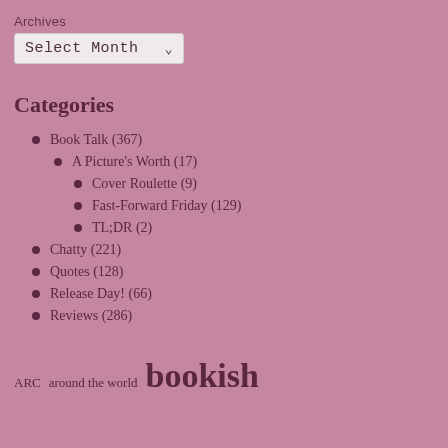Archives
[Figure (screenshot): A dropdown select box showing 'Select Month' with a dropdown arrow]
Categories
Book Talk (367)
A Picture's Worth (17)
Cover Roulette (9)
Fast-Forward Friday (129)
TL;DR (2)
Chatty (221)
Quotes (128)
Release Day! (66)
Reviews (286)
ARC  around the world  bookish